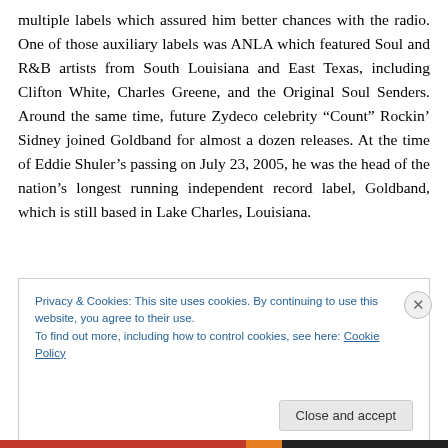multiple labels which assured him better chances with the radio. One of those auxiliary labels was ANLA which featured Soul and R&B artists from South Louisiana and East Texas, including Clifton White, Charles Greene, and the Original Soul Senders. Around the same time, future Zydeco celebrity “Count” Rockin’ Sidney joined Goldband for almost a dozen releases. At the time of Eddie Shuler’s passing on July 23, 2005, he was the head of the nation’s longest running independent record label, Goldband, which is still based in Lake Charles, Louisiana.
Privacy & Cookies: This site uses cookies. By continuing to use this website, you agree to their use.
To find out more, including how to control cookies, see here: Cookie Policy